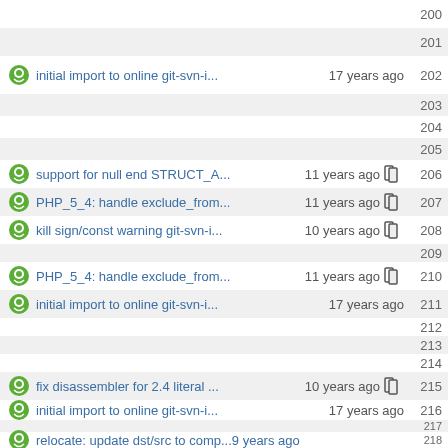200
201
initial import to online git-svn-i... 17 years ago  202
203
204
205
support for null end STRUCT_A... 11 years ago  206
PHP_5_4: handle exclude_from... 11 years ago  207
kill sign/const warning git-svn-i... 10 years ago  208
209
PHP_5_4: handle exclude_from... 11 years ago  210
initial import to online git-svn-i... 17 years ago  211
212
213
214
fix disassembler for 2.4 literal ... 10 years ago  215
initial import to online git-svn-i... 17 years ago  216
217
relocate: update dst/src to comp...9 years ago  218
initial import to online git-svn-i... 17 years ago  219
support for null end STRUCT_A... 11 years ago  220